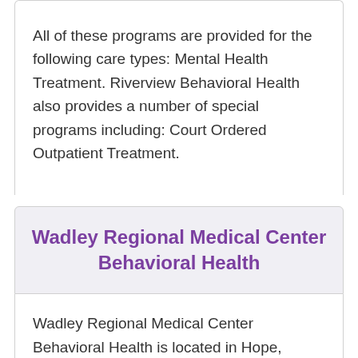All of these programs are provided for the following care types: Mental Health Treatment. Riverview Behavioral Health also provides a number of special programs including: Court Ordered Outpatient Treatment.
Wadley Regional Medical Center Behavioral Health
Wadley Regional Medical Center Behavioral Health is located in Hope, Arkansas - 71801.
Wadley Regional Medical Center Behavioral Health allows Cash or Self-Payment